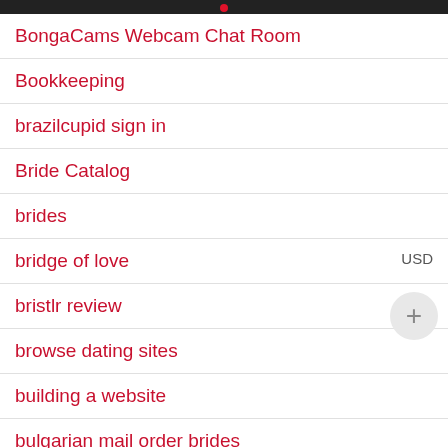BongaCams Webcam Chat Room
Bookkeeping
brazilcupid sign in
Bride Catalog
brides
bridge of love
bristlr review
browse dating sites
building a website
bulgarian mail order brides
Busty Russian Brides
Buy A Wife Online
USD
English